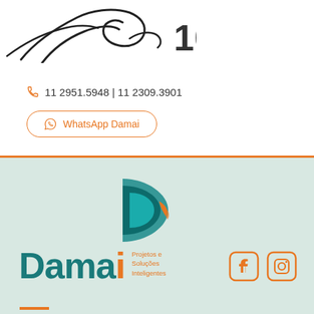[Figure (illustration): Partial illustration of hands/figure at top left, with number 100 partially visible at top right]
11 2951.5948 | 11 2309.3901
WhatsApp Damai
[Figure (logo): Damai logo: teal and orange D-shaped icon above the wordmark 'Damai Projetos e Soluções Inteligentes']
[Figure (logo): Facebook and Instagram social media icons in orange outline style]